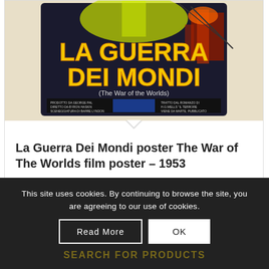[Figure (photo): Movie poster for 'La Guerra Dei Mondi' (The War of the Worlds) 1953, Italian version, showing yellow text title on dark background with sci-fi imagery]
La Guerra Dei Mondi poster The War of The Worlds film poster – 1953
£3.99 – £14.00
This site uses cookies. By continuing to browse the site, you are agreeing to our use of cookies.
Read More
OK
SEARCH FOR PRODUCTS